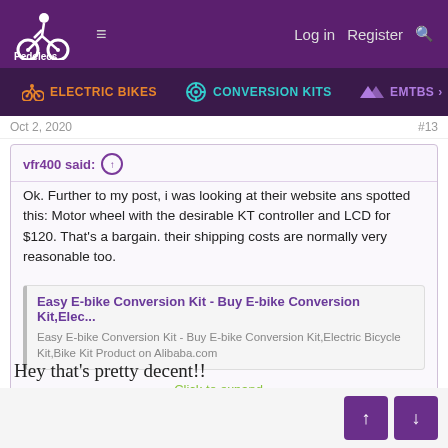Pedelecs — ELECTRIC BIKES | CONVERSION KITS | EMTBS
Oct 2, 2020   #13
vfr400 said:
Ok. Further to my post, i was looking at their website ans spotted this: Motor wheel with the desirable KT controller and LCD for $120. That's a bargain. their shipping costs are normally very reasonable too.
Easy E-bike Conversion Kit - Buy E-bike Conversion Kit,Elec...
Easy E-bike Conversion Kit - Buy E-bike Conversion Kit,Electric Bicycle Kit,Bike Kit Product on Alibaba.com
Click to expand...
Hey that's pretty decent!!